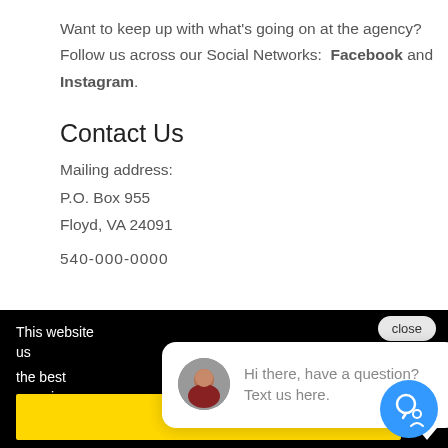Want to keep up with what's going on at the agency? Follow us across our Social Networks: Facebook and Instagram.
Contact Us
Mailing address:
P.O. Box 955
Floyd, VA 24091
540-000-0000 (partially visible)
This website us... the best experi...
Learn more
close
Hi there, have a question? Text us here.
Got it!